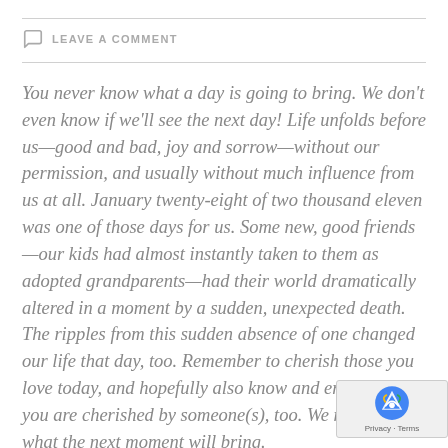LEAVE A COMMENT
You never know what a day is going to bring. We don't even know if we'll see the next day! Life unfolds before us—good and bad, joy and sorrow—without our permission, and usually without much influence from us at all. January twenty-eight of two thousand eleven was one of those days for us. Some new, good friends—our kids had almost instantly taken to them as adopted grandparents—had their world dramatically altered in a moment by a sudden, unexpected death. The ripples from this sudden absence of one changed our life that day, too. Remember to cherish those you love today, and hopefully also know and enjoy that you are cherished by someone(s), too. We never know what the next moment will bring.